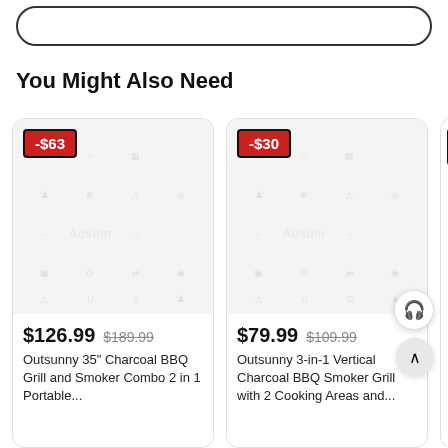[Figure (screenshot): Search bar at top of page, rounded rectangle outline]
You Might Also Need
[Figure (screenshot): Product card 1: -$63 discount badge, Aosom watermark image placeholder, price $126.99 (was $189.99), Outsunny 35" Charcoal BBQ Grill and Smoker Combo 2 in 1 Portable...]
[Figure (screenshot): Product card 2: -$30 discount badge, Aosom watermark image placeholder, price $79.99 (was $109.99), Outsunny 3-in-1 Vertical Charcoal BBQ Smoker Grill with 2 Cooking Areas and...]
[Figure (screenshot): Partial third product card with red badge visible at edge]